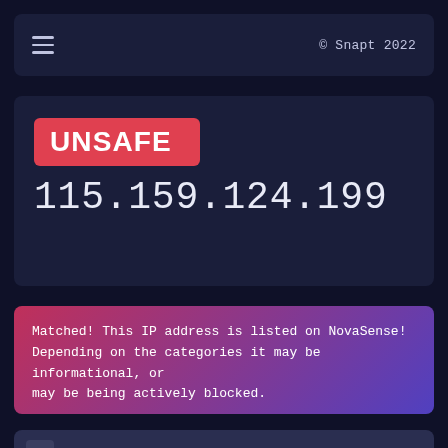≡   © Snapt 2022
UNSAFE
115.159.124.199
Matched! This IP address is listed on NovaSense! Depending on the categories it may be informational, or may be being actively blocked.
[Figure (other): Map view area with zoom in (+) and zoom out (-) controls]